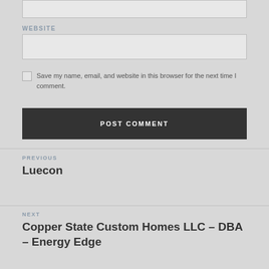WEBSITE
Save my name, email, and website in this browser for the next time I comment.
POST COMMENT
PREVIOUS
Luecon
NEXT
Copper State Custom Homes LLC – DBA – Energy Edge